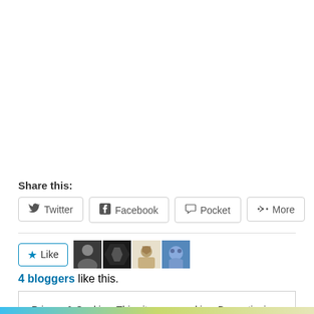Share this:
Twitter
Facebook
Pocket
More
[Figure (other): Like button with star icon and 4 blogger avatar thumbnails]
4 bloggers like this.
Privacy & Cookies: This site uses cookies. By continuing to use this website, you agree to their use. To find out more, including how to control cookies, see here: Cookie Policy
Close and accept